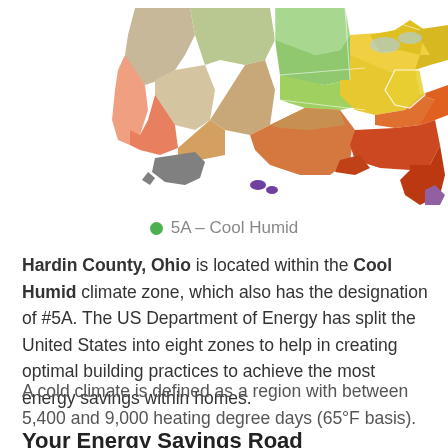[Figure (map): US climate zone map showing color-coded energy zones across the United States including Alaska and Hawaii. The eastern half shows warm red/orange/yellow zones, western states show varied colors including green and tan, Alaska shown in gray, Hawaii in purple.]
5A – Cool Humid
Hardin County, Ohio is located within the Cool Humid climate zone, which also has the designation of #5A. The US Department of Energy has split the United States into eight zones to help in creating optimal building practices to achieve the most energy savings within homes.
A cold climate is defined as a region with between 5,400 and 9,000 heating degree days (65ºF basis).
Your Energy Savings Road...